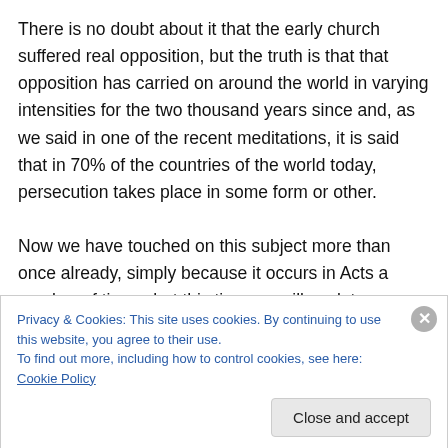There is no doubt about it that the early church suffered real opposition, but the truth is that that opposition has carried on around the world in varying intensities for the two thousand years since and, as we said in one of the recent meditations, it is said that in 70% of the countries of the world today, persecution takes place in some form or other.

Now we have touched on this subject more than once already, simply because it occurs in Acts a number of times, but this time we will seek to consider it in more
Privacy & Cookies: This site uses cookies. By continuing to use this website, you agree to their use.
To find out more, including how to control cookies, see here: Cookie Policy
Close and accept